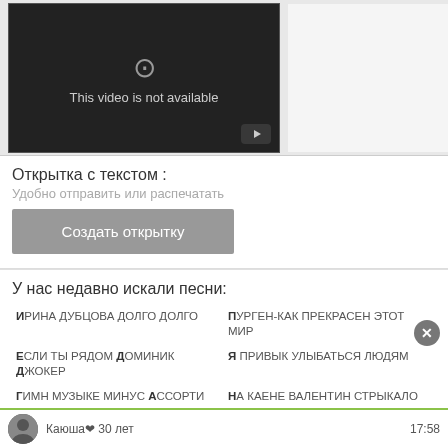[Figure (screenshot): Video player showing 'This video is not available' message on dark background with YouTube button]
Открытка с текстом :
Удобно отправить или распечатать
Создать открытку
У нас недавно искали песни:
Ирина дубцова долго долго
Пурген-как прекрасен этот мир
Если ты рядом Доминик Джокер
Я привык улыбаться людям
Гимн музыке минус Ассорти
На каене валентин стрыкало
Ты держи меня за руку Земфира
Женя Мильковский радио волна
Каюша❤ 30 лет
17:58